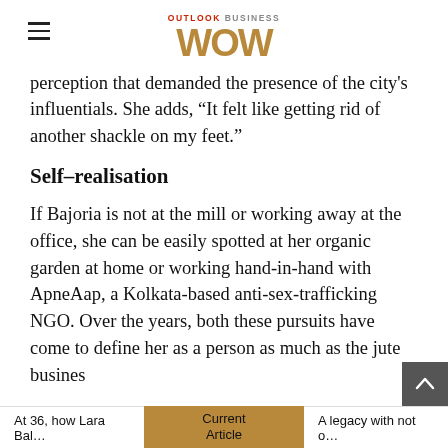OUTLOOK BUSINESS WOW
perception that demanded the presence of the city's influentials. She adds, “It felt like getting rid of another shackle on my feet.”
Self–realisation
If Bajoria is not at the mill or working away at the office, she can be easily spotted at her organic garden at home or working hand-in-hand with ApneAap, a Kolkata-based anti-sex-trafficking NGO. Over the years, both these pursuits have come to define her as a person as much as the jute busines…
At 36, how Lara Bal… | Current Article | A legacy with not o…